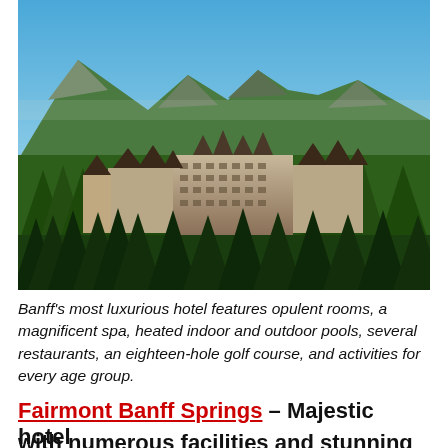[Figure (photo): Aerial view of Fairmont Banff Springs hotel surrounded by dense green conifer forest with mountain peaks in the background under a clear blue sky.]
Banff's most luxurious hotel features opulent rooms, a magnificent spa, heated indoor and outdoor pools, several restaurants, an eighteen-hole golf course, and activities for every age group.
Fairmont Banff Springs – Majestic hotel with numerous facilities and stunning views